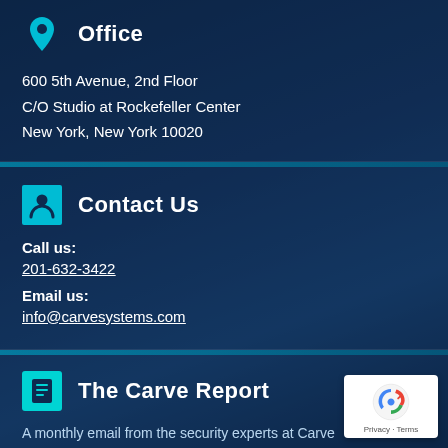Office
600 5th Avenue, 2nd Floor
C/O Studio at Rockefeller Center
New York, New York 10020
Contact Us
Call us:
201-632-3422
Email us:
info@carvesystems.com
The Carve Report
A monthly email from the security experts at Carve